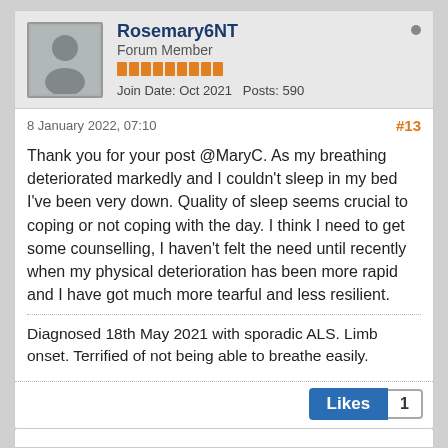Rosemary6NT
Forum Member
Join Date: Oct 2021   Posts: 590
8 January 2022, 07:10
#13
Thank you for your post @MaryC. As my breathing deteriorated markedly and I couldn't sleep in my bed I've been very down. Quality of sleep seems crucial to coping or not coping with the day. I think I need to get some counselling, I haven't felt the need until recently when my physical deterioration has been more rapid and I have got much more tearful and less resilient.
Diagnosed 18th May 2021 with sporadic ALS. Limb onset. Terrified of not being able to breathe easily.
Likes 1